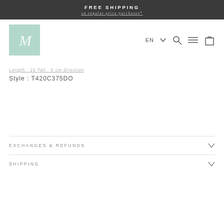FREE SHIPPING on regular price purchases*
[Figure (logo): Min brand logo - mint green square with cursive white initial M]
Style : T420C375DO
EXCHANGES & REFUNDS
SHIPPING